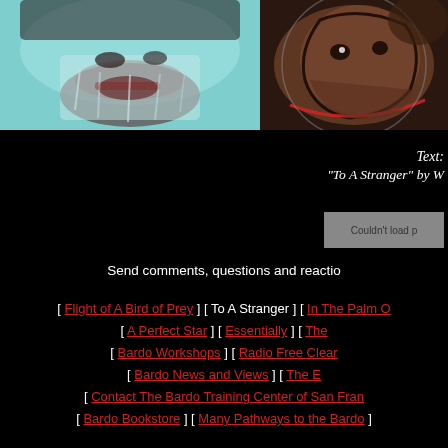[Figure (photo): Two images side by side at top: left shows a close-up of a white/grey bearded face with teal/cyan tones, right shows a brown-toned illustrated or filtered face with a circular frame and red line]
Text:
"To A Stranger" by W
[Figure (other): Broken image placeholder showing 'Couldn't load p']
Send comments, questions and reactio
[ Flight of A Bird of Prey ] [ To A Stranger ] [ In The Palm O
[ A Perfect Star ] [ Essentially ] [ The
[ Bardo Workshops ] [ Radio Free Clear
[ Bardo News and Views ] [ The E
[ Contact The Bardo Training Center of San Fran
[ Bardo Bookstore ] [ Many Pathways to the Bardo ]